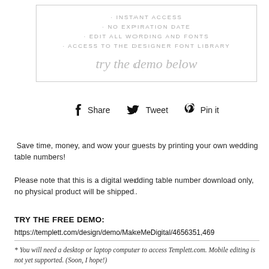[Figure (infographic): Box with feature bullet points and script text 'try the demo below']
· INSTANT ACCESS
· NO EXPIRATION DATE
· EDIT ALL WORDING AND FONTS
· ACCESS TO THE DESIGNER FONT LIBRARY
try the demo below
Share   Tweet   Pin it
Save time, money, and wow your guests by printing your own wedding table numbers!
Please note that this is a digital wedding table number download only, no physical product will be shipped.
TRY THE FREE DEMO:
https://templett.com/design/demo/MakeMeDigital/4656351,469
* You will need a desktop or laptop computer to access Templett.com. Mobile editing is not yet supported. (Soon, I hope!)